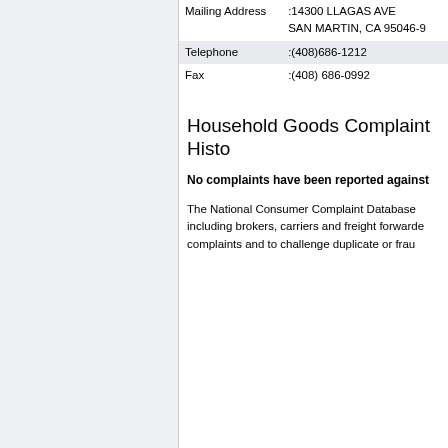| Field | Value |
| --- | --- |
| Mailing Address | :14300 LLAGAS AVE
SAN MARTIN, CA 95046-9 |
| Telephone | :(408)686-1212 |
| Fax | :(408) 686-0992 |
Household Goods Complaint Histo
No complaints have been reported against
The National Consumer Complaint Database including brokers, carriers and freight forwarde complaints and to challenge duplicate or frau